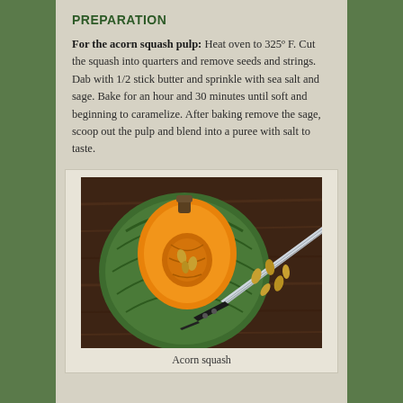PREPARATION
For the acorn squash pulp: Heat oven to 325° F. Cut the squash into quarters and remove seeds and strings. Dab with 1/2 stick butter and sprinkle with sea salt and sage. Bake for an hour and 30 minutes until soft and beginning to caramelize. After baking remove the sage, scoop out the pulp and blend into a puree with salt to taste.
[Figure (photo): A green acorn squash cut open showing orange flesh and seeds, with a chef's knife on a dark wooden cutting board, and several seeds scattered nearby.]
Acorn squash